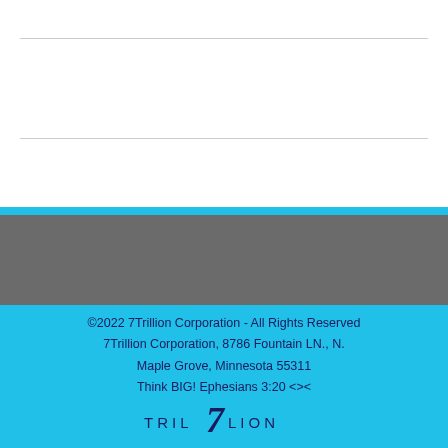©2022 7Trillion Corporation - All Rights Reserved
7Trillion Corporation, 8786 Fountain LN., N.
Maple Grove, Minnesota 55311
Think BIG! Ephesians 3:20 <><